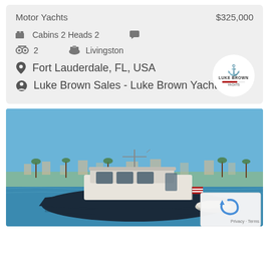Motor Yachts    $325,000
Cabins 2 Heads 2
2    Livingston
Fort Lauderdale, FL, USA
Luke Brown Sales - Luke Brown Yachts
[Figure (photo): Motor yacht on blue water with clear sky, docked near a marina with palm trees and buildings in the background. American flag visible on vessel.]